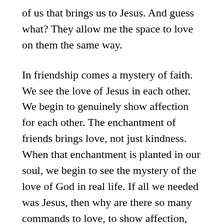of us that brings us to Jesus. And guess what? They allow me the space to love on them the same way.
In friendship comes a mystery of faith. We see the love of Jesus in each other. We begin to genuinely show affection for each other. The enchantment of friends brings love, not just kindness. When that enchantment is planted in our soul, we begin to see the mystery of the love of God in real life. If all we needed was Jesus, then why are there so many commands to love, to show affection, and longings to see each other throughout the New Testament? It is in the eyes, in the mouths, and in the souls of others we experience the enchantment of